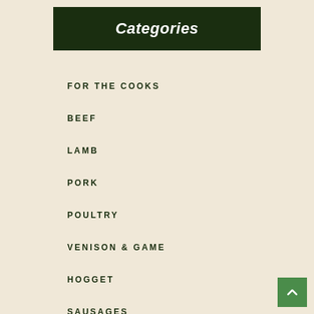Categories
FOR THE COOKS
BEEF
LAMB
PORK
POULTRY
VENISON & GAME
HOGGET
SAUSAGES
BURGERS